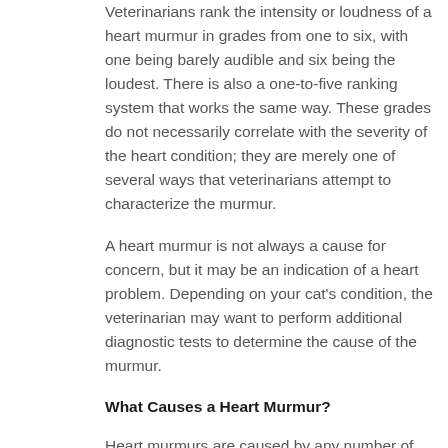Veterinarians rank the intensity or loudness of a heart murmur in grades from one to six, with one being barely audible and six being the loudest. There is also a one-to-five ranking system that works the same way. These grades do not necessarily correlate with the severity of the heart condition; they are merely one of several ways that veterinarians attempt to characterize the murmur.
A heart murmur is not always a cause for concern, but it may be an indication of a heart problem. Depending on your cat's condition, the veterinarian may want to perform additional diagnostic tests to determine the cause of the murmur.
What Causes a Heart Murmur?
Heart murmurs are caused by any number of conditions that can create turbulence in the flow